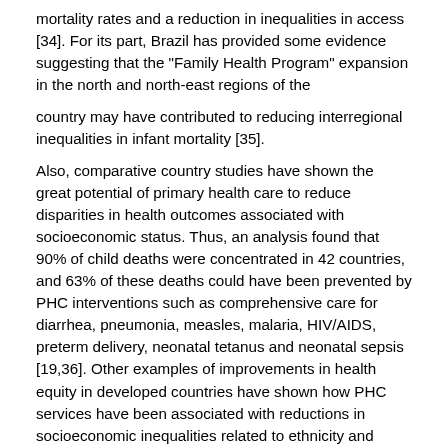mortality rates and a reduction in inequalities in access [34]. For its part, Brazil has provided some evidence suggesting that the "Family Health Program" expansion in the north and north-east regions of the
country may have contributed to reducing interregional inequalities in infant mortality [35].
Also, comparative country studies have shown the great potential of primary health care to reduce disparities in health outcomes associated with socioeconomic status. Thus, an analysis found that 90% of child deaths were concentrated in 42 countries, and 63% of these deaths could have been prevented by PHC interventions such as comprehensive care for diarrhea, pneumonia, measles, malaria, HIV/AIDS, preterm delivery, neonatal tetanus and neonatal sepsis [19,36]. Other examples of improvements in health equity in developed countries have shown how PHC services have been associated with reductions in socioeconomic inequalities related to ethnicity and geographical location in health outcomes (child mortality and all-cause mortality) and self-perceived health status [37-41]. A literature